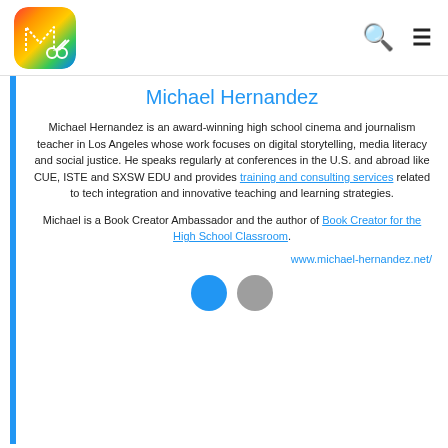Michael Hernandez — Book Creator website header with logo, search and menu icons
Michael Hernandez
Michael Hernandez is an award-winning high school cinema and journalism teacher in Los Angeles whose work focuses on digital storytelling, media literacy and social justice. He speaks regularly at conferences in the U.S. and abroad like CUE, ISTE and SXSW EDU and provides training and consulting services related to tech integration and innovative teaching and learning strategies.
Michael is a Book Creator Ambassador and the author of Book Creator for the High School Classroom.
www.michael-hernandez.net/